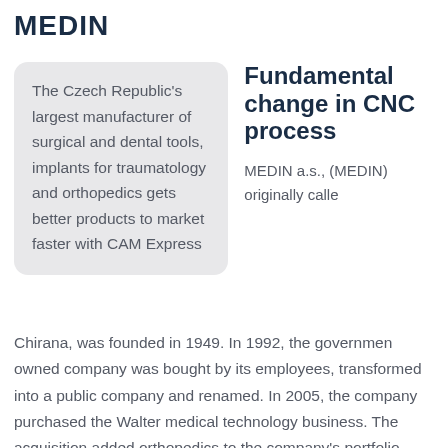MEDIN
The Czech Republic's largest manufacturer of surgical and dental tools, implants for traumatology and orthopedics gets better products to market faster with CAM Express
Fundamental change in CNC process
MEDIN a.s., (MEDIN) originally called Chirana, was founded in 1949. In 1992, the government owned company was bought by its employees, transformed into a public company and renamed. In 2005, the company purchased the Walter medical technology business. The acquisition added orthopedics to the company's portfolio. Today, the company is the biggest manufacturer of healthcare technology in the Czech Republic. Its product lines include surgical and